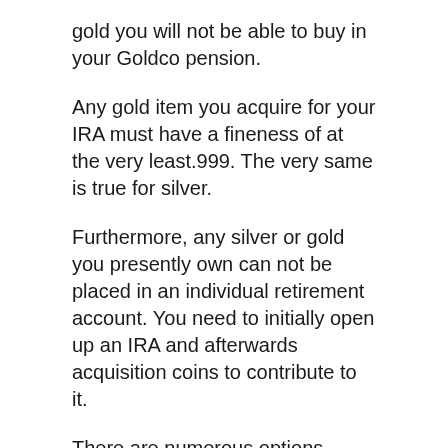gold you will not be able to buy in your Goldco pension.
Any gold item you acquire for your IRA must have a fineness of at the very least.999. The very same is true for silver.
Furthermore, any silver or gold you presently own can not be placed in an individual retirement account. You need to initially open up an IRA and afterwards acquisition coins to contribute to it.
There are numerous options Goldco currently uses for acquisition. These consist of:
2017 Australian Deep Sea Crocodile Gold Coin. This 1/4 oz coin originates from the